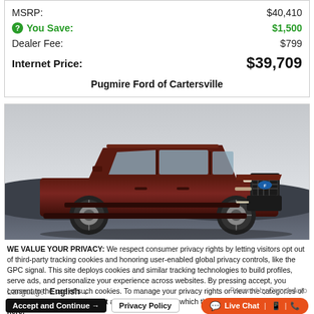| MSRP: | $40,410 |
| You Save: | $1,500 |
| Dealer Fee: | $799 |
| Internet Price: | $39,709 |
Pugmire Ford of Cartersville
[Figure (photo): Dark maroon/brown Ford Explorer SUV parked outdoors with mountains/hills in background under overcast sky]
WE VALUE YOUR PRIVACY: We respect consumer privacy rights by letting visitors opt out of third-party tracking cookies and honoring user-enabled global privacy controls, like the GPC signal. This site deploys cookies and similar tracking technologies to build profiles, serve ads, and personalize your experience across websites. By pressing accept, you consent to the use of such cookies. To manage your privacy rights or view the categories of personal information we collect and the purposes for which the information is used, click here.
Language: English
Powered by ComplyAuto
Accept and Continue →
Privacy Policy
Live Chat